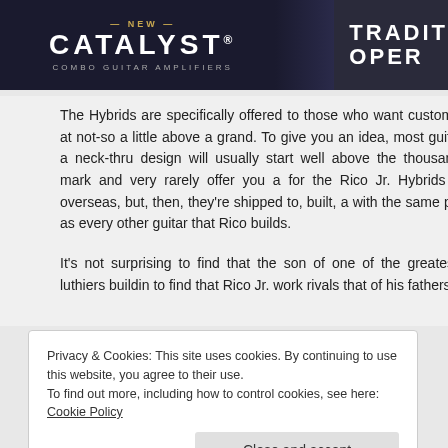[Figure (screenshot): Banner advertisement for 'NEW CATALYST COMBO GUITAR AMPLIFIERS' on the left side with dark background, and 'TRADIT OPER' text on the right with a guitar image]
The Hybrids are specifically offered to those who want custom guitars at not-so a little above a grand. To give you an idea, most guitars with a neck-thru design will usually start well above the thousand-dollar mark and very rarely offer you a for the Rico Jr. Hybrids are cut overseas, but, then, they're shipped to, built, a with the same precision as every other guitar that Rico builds.
It's not surprising to find that the son of one of the greatest guitar luthiers buildin to find that Rico Jr. work rivals that of his fathers.
•
Privacy & Cookies: This site uses cookies. By continuing to use this website, you agree to their use.
To find out more, including how to control cookies, see here: Cookie Policy
Close and accept